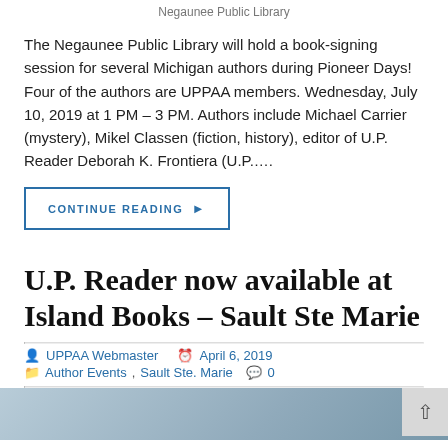Negaunee Public Library
The Negaunee Public Library will hold a book-signing session for several Michigan authors during Pioneer Days!   Four of the authors are UPPAA members. Wednesday, July 10, 2019 at 1 PM – 3 PM. Authors include Michael Carrier (mystery), Mikel Classen (fiction, history), editor of U.P. Reader Deborah K. Frontiera (U.P.….
CONTINUE READING ▶
U.P. Reader now available at Island Books – Sault Ste Marie
UPPAA Webmaster   April 6, 2019
Author Events,  Sault Ste. Marie   0
[Figure (photo): Bottom strip showing partial photo image]